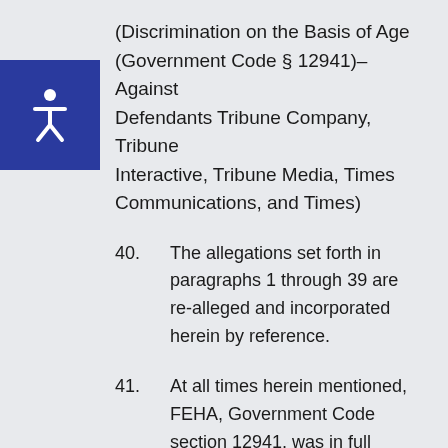(Discrimination on the Basis of Age (Government Code § 12941)–Against Defendants Tribune Company, Tribune Interactive, Tribune Media, Times Communications, and Times)
40.      The allegations set forth in paragraphs 1 through 39 are re-alleged and incorporated herein by reference.
41.      At all times herein mentioned, FEHA, Government Code section 12941, was in full force and effect and was binding on defendants.  This statute requires defendants to refrain from discriminating